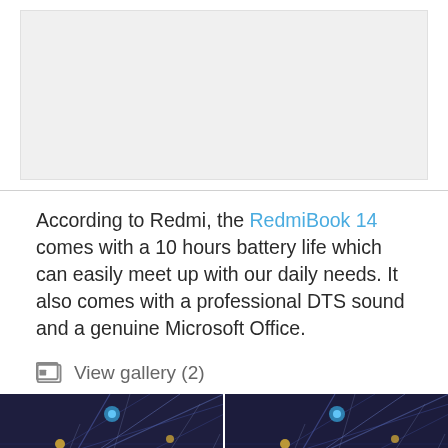[Figure (photo): Large gray placeholder image area at the top of the page]
According to Redmi, the RedmiBook 14 comes with a 10 hours battery life which can easily meet up with our daily needs. It also comes with a professional DTS sound and a genuine Microsoft Office.
View gallery (2)
[Figure (photo): Two side-by-side photos showing a complex blue-lit ceiling structure with lights, appearing to be an indoor venue or arena]
[Figure (photo): Second photo of the same indoor venue with ceiling lights and blue metallic structure]